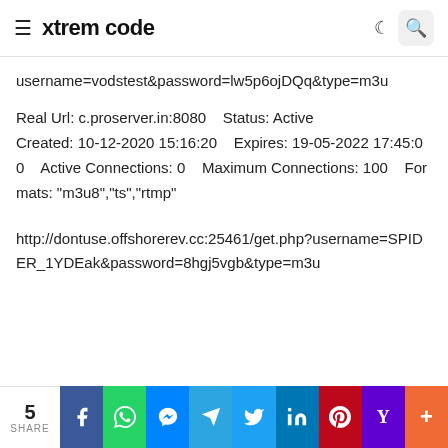xtrem code
username=vodstest&password=lw5p6ojDQq&type=m3u
Real Url: c.proserver.in:8080    Status: Active    Created: 10-12-2020 15:16:20    Expires: 19-05-2022 17:45:00    Active Connections: 0    Maximum Connections: 100    Formats: "m3u8","ts","rtmp"
http://dontuse.offshorerev.cc:25461/get.php?username=SPIDER_1YDEak&password=8hgj5vgb&type=m3u